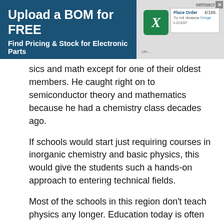[Figure (screenshot): Advertisement banner for 'Upload a BOM for FREE - Find Pricing & Stock for Electronic Parts' with a dark blue background, Excel icon, and a pricing panel mockup with close button.]
sics and math except for one of their oldest members. He caught right on to semiconductor theory and mathematics because he had a chemistry class decades ago.
If schools would start just requiring courses in inorganic chemistry and basic physics, this would give the students such a hands-on approach to entering technical fields.
Most of the schools in this region don't teach physics any longer. Education today is often memorization and trying to learn to pass a test. Critical thinking and problem solving, forget it.
Another problem in this region is the near total lack of high-tech jobs.
The end result is we have no computer clubs, no